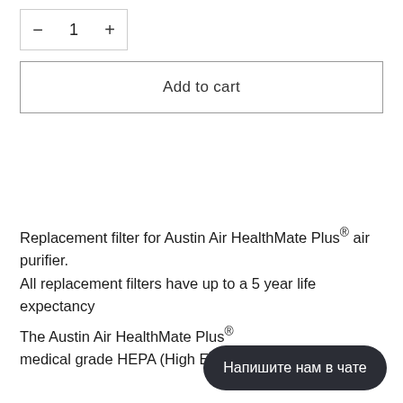[Figure (screenshot): Quantity selector with minus button, number 1, and plus button inside a bordered box]
Add to cart
Replacement filter for Austin Air HealthMate Plus® air purifier.
All replacement filters have up to a 5 year life expectancy
The Austin Air HealthMate Plus® medical grade HEPA (High Efficiency Particulate
[Figure (other): Chat bubble overlay with text 'Напишите нам в чате']